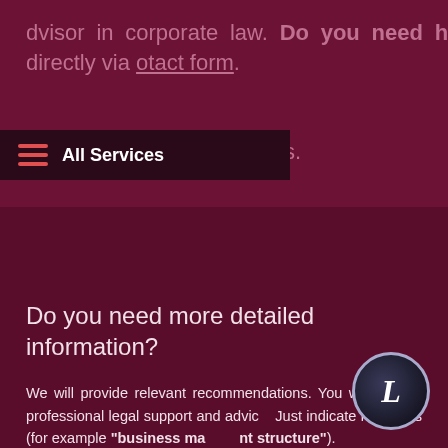dvisor in corporate law. Do you need help of porate lawyer? Contact Sergey directly via otact form. ut more about our services.
All Services
Do you need more detailed information?
We will provide relevant recommendations. You will receive professional legal support and advice. Just indicate keywords (for example "business management structure").